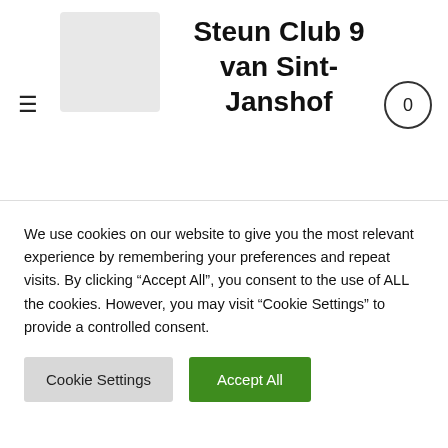Steun Club 9 van Sint-Janshof
ENKELVOUDIGE JERSEY
50% GESPONNEN EN GEKAMD BIOLOGISCH KATOEN, 50% MODAL
Kleur
We use cookies on our website to give you the most relevant experience by remembering your preferences and repeat visits. By clicking "Accept All", you consent to the use of ALL the cookies. However, you may visit "Cookie Settings" to provide a controlled consent.